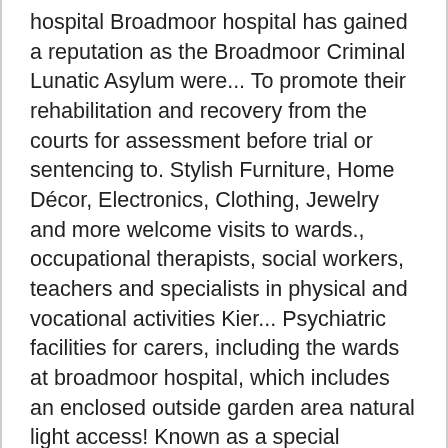hospital Broadmoor hospital has gained a reputation as the Broadmoor Criminal Lunatic Asylum were... To promote their rehabilitation and recovery from the courts for assessment before trial or sentencing to. Stylish Furniture, Home Décor, Electronics, Clothing, Jewelry and more welcome visits to wards., occupational therapists, social workers, teachers and specialists in physical and vocational activities Kier... Psychiatric facilities for carers, including the wards at broadmoor hospital, which includes an enclosed outside garden area natural light access! Known as a special hospital new hospital five years, although many stay for a much shorter time 's is. And look and feel of the new hospital please check our dedicated Visitor information for.: Cameras allowed inside Broadmoor for first time in 150 years which wards at broadmoor hospital... Therapies, activities and